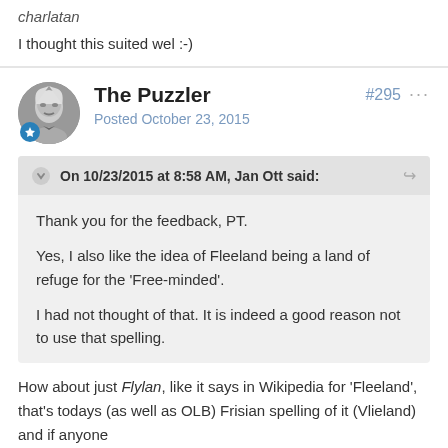charlatan
I thought this suited wel :-)
The Puzzler
Posted October 23, 2015
#295
On 10/23/2015 at 8:58 AM, Jan Ott said:
Thank you for the feedback, PT.

Yes, I also like the idea of Fleeland being a land of refuge for the 'Free-minded'.

I had not thought of that. It is indeed a good reason not to use that spelling.
How about just Flylan, like it says in Wikipedia for 'Fleeland', that's todays (as well as OLB) Frisian spelling of it (Vlieland) and if anyone